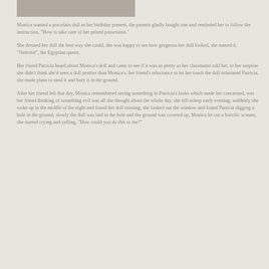[Figure (photo): Partial cropped photo visible at the top of the page, showing a portion of an image (appears to be a person or object, mostly cropped off).]
Monica wanted a porcelain doll as her birthday present, the parents gladly bought one and reminded her to follow the instruction, "How to take care of her prized possession."
She dressed her doll the best way she could, she was happy to see how gorgeous her doll looked, she named it, "Nefertiti", the Egyptian queen.
Her friend Patricia heard about Monica's doll and came to see if it was as pretty as her classmates told her, to her surprise she didn't think she'd seen a doll prettier than Monica's, her friend's reluctance to let her touch the doll infuriated Patricia, she made plans to steal it and bury it in the ground.
After her friend left that day, Monica remembered seeing something in Patricia's looks which made her concerned, was her friend thinking of something evil was all she thought about the whole day, she fell asleep early evening, suddenly she woke up in the middle of the night and found her doll missing, she looked out the window and found Patricia digging a hole in the ground, slowly the doll was laid in the hole and the ground was covered up, Monica let out a horrific scream, she started crying and yelling, "How could you do this to me?"